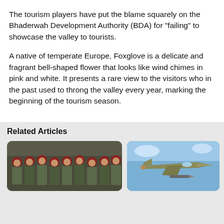The tourism players have put the blame squarely on the Bhaderwah Development Authority (BDA) for "failing" to showcase the valley to tourists.
A native of temperate Europe, Foxglove is a delicate and fragrant bell-shaped flower that looks like wind chimes in pink and white. It presents a rare view to the visitors who in the past used to throng the valley every year, marking the beginning of the tourism season.
Related Articles
[Figure (photo): Group of soldiers in camouflage uniform and red berets standing in formation]
[Figure (photo): Military jet aircraft flying against a blue sky]